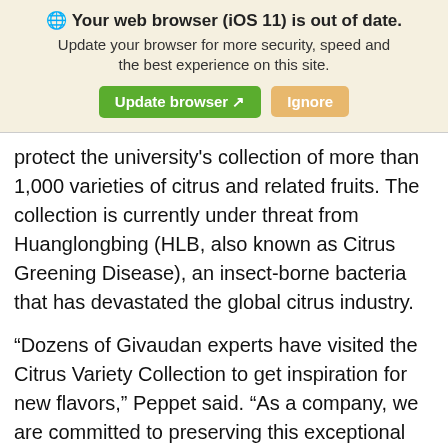🌐 Your web browser (iOS 11) is out of date. Update your browser for more security, speed and the best experience on this site. [Update browser] [Ignore]
protect the university's collection of more than 1,000 varieties of citrus and related fruits. The collection is currently under threat from Huanglongbing (HLB, also known as Citrus Greening Disease), an insect-borne bacteria that has devastated the global citrus industry.
“Dozens of Givaudan experts have visited the Citrus Variety Collection to get inspiration for new flavors,” Peppet said. “As a company, we are committed to preserving this exceptional collection so that it can continue to support research benefitting the citrus industry."